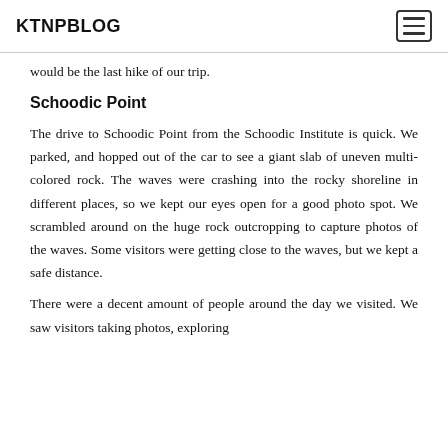KTNPBLOG
would be the last hike of our trip.
Schoodic Point
The drive to Schoodic Point from the Schoodic Institute is quick. We parked, and hopped out of the car to see a giant slab of uneven multi-colored rock. The waves were crashing into the rocky shoreline in different places, so we kept our eyes open for a good photo spot. We scrambled around on the huge rock outcropping to capture photos of the waves. Some visitors were getting close to the waves, but we kept a safe distance.
There were a decent amount of people around the day we visited. We saw visitors taking photos, exploring